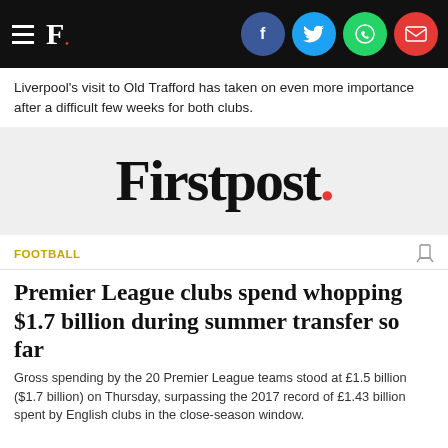Firstpost. [navigation header with social icons: Facebook, Twitter, WhatsApp, Email]
Liverpool's visit to Old Trafford has taken on even more importance after a difficult few weeks for both clubs.
[Figure (logo): Firstpost. logo on light grey background, large serif font with red period]
FOOTBALL
Premier League clubs spend whopping $1.7 billion during summer transfer so far
Gross spending by the 20 Premier League teams stood at £1.5 billion ($1.7 billion) on Thursday, surpassing the 2017 record of £1.43 billion spent by English clubs in the close-season window.